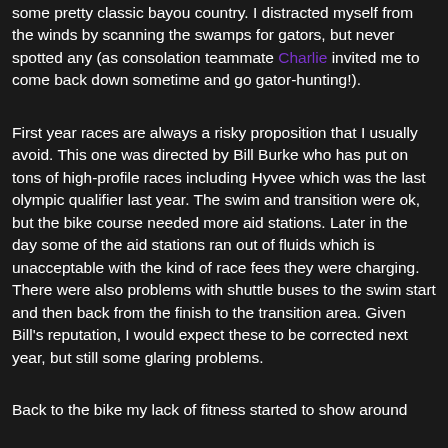some pretty classic bayou country. I distracted myself from the winds by scanning the swamps for gators, but never spotted any (as consolation teammate Charlie invited me to come back down sometime and go gator-hunting!).
First year races are always a risky proposition that I usually avoid. This one was directed by Bill Burke who has put on tons of high-profile races including Hyvee which was the last olympic qualifier last year. The swim and transition were ok, but the bike course needed more aid stations. Later in the day some of the aid stations ran out of fluids which is unacceptable with the kind of race fees they were charging. There were also problems with shuttle buses to the swim start and then back from the finish to the transition area. Given Bill's reputation, I would expect these to be corrected next year, but still some glaring problems.
Back to the bike my lack of fitness started to show around